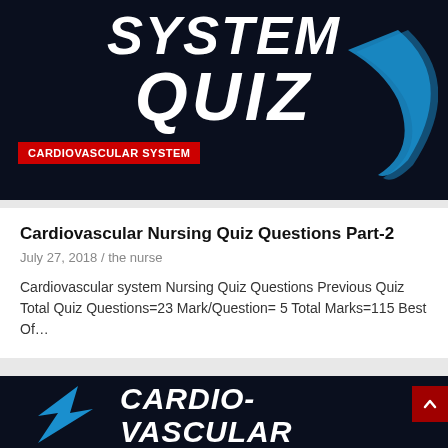[Figure (illustration): Dark navy background banner with large bold white italic text 'SYSTEM QUIZ' and a red badge reading 'CARDIOVASCULAR SYSTEM' in the lower left, with a blue swirl/swoosh graphic on the right side.]
Cardiovascular Nursing Quiz Questions Part-2
July 27, 2018 / the nurse
Cardiovascular system Nursing Quiz Questions Previous Quiz Total Quiz Questions=23 Mark/Question= 5 Total Marks=115 Best Of…
[Figure (illustration): Dark navy background banner with large bold white italic text 'CARDIO-VASCULAR SYSTEM' and a blue lightning bolt/swoosh graphic on the left side. A red scroll-to-top button with an up arrow is visible on the right.]